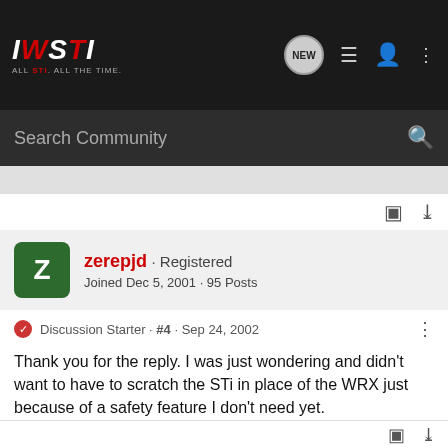IWSTI · ALL STI. ALL THE TIME.
Search Community
zerepjd · Registered · Joined Dec 5, 2001 · 95 Posts
Discussion Starter · #4 · Sep 24, 2002
Thank you for the reply. I was just wondering and didn't want to have to scratch the STi in place of the WRX just because of a safety feature I don't need yet.

Jared